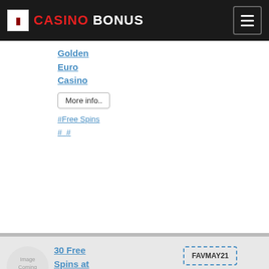CASINO BONUS
Golden Euro Casino
More info..
#Free Spins # #
[Figure (other): Image Coming Soon placeholder circle]
30 Free Spins at Golden Euro Casino
More info..
#Free Spins # #
FAVMAY21
Get bonus now
[Figure (other): Image Coming Soon placeholder circle]
30 Free Spins at Golden Euro Casino
More info..
FAVMAY21
Get bonus now